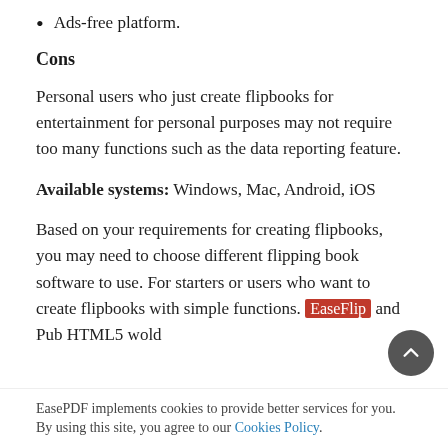Ads-free platform.
Cons
Personal users who just create flipbooks for entertainment for personal purposes may not require too many functions such as the data reporting feature.
Available systems: Windows, Mac, Android, iOS
Based on your requirements for creating flipbooks, you may need to choose different flipping book software to use. For starters or users who want to create flipbooks with simple functions. EaseFlip and Pub HTML5 wo ld
EasePDF implements cookies to provide better services for you. By using this site, you agree to our Cookies Policy.